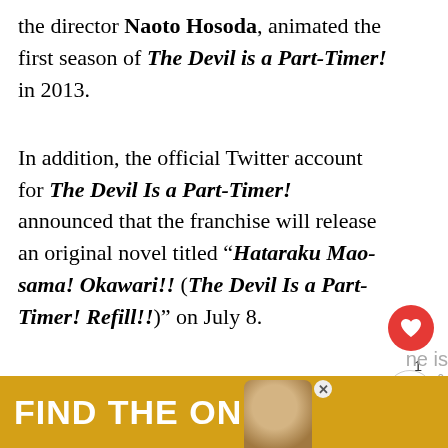the director Naoto Hosoda, animated the first season of The Devil is a Part-Timer! in 2013.

In addition, the official Twitter account for The Devil Is a Part-Timer! announced that the franchise will release an original novel titled "Hataraku Mao-sama! Okawari!! (The Devil Is a Part-Timer! Refill!!)" on July 8.
[Figure (other): Red circular heart/like button and share icon on the right side of the page, with count '1' below the heart button. Thumbnail image of a dog with 'WHAT'S NEXT → Record Of Ragnarok...' label.]
[Figure (other): Yellow/gold advertisement banner at bottom reading 'FIND THE ONE' with a dog photo and X close button.]